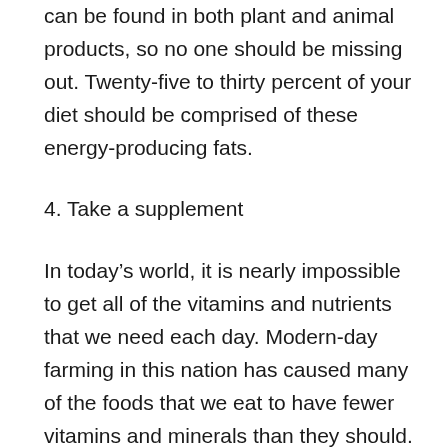can be found in both plant and animal products, so no one should be missing out. Twenty-five to thirty percent of your diet should be comprised of these energy-producing fats.
4. Take a supplement
In today's world, it is nearly impossible to get all of the vitamins and nutrients that we need each day. Modern-day farming in this nation has caused many of the foods that we eat to have fewer vitamins and minerals than they should. Dieting and high stresses that are a